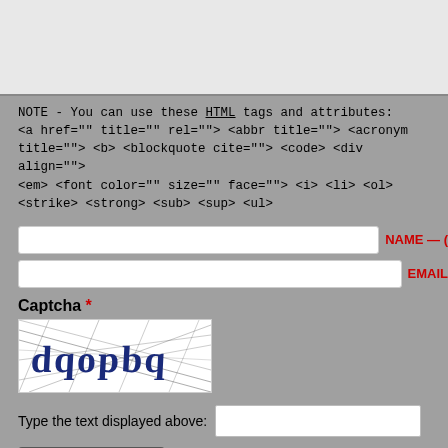[Figure (screenshot): Gray text input area at top of page (comment box, partially visible)]
NOTE - You can use these HTML tags and attributes:
<a href="" title="" rel=""> <abbr title=""> <acronym title=""> <b> <blockquote cite=""> <code> <div align=""> <em> <font color="" size="" face=""> <i> <li> <ol> <strike> <strong> <sub> <sup> <ul>
NAME — (
EMAIL
Captcha *
[Figure (other): CAPTCHA image showing distorted text 'dqopbq' in dark blue on white background with diagonal line interference]
Type the text displayed above:
Post Comment
18+ Action Adventure Animation Biography Blu-ray Co... Experimental Family Fantasy, Sci-Fi History Horror Mus...